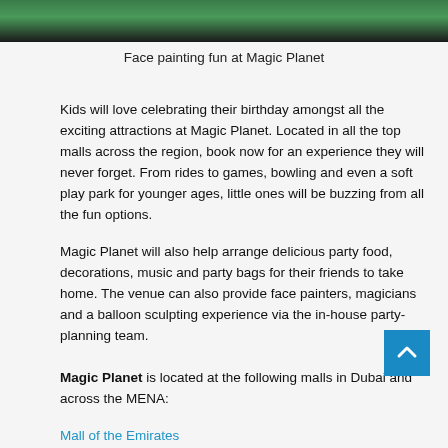[Figure (photo): Top portion of a photo showing face painting at Magic Planet — green background with partial view of a person]
Face painting fun at Magic Planet
Kids will love celebrating their birthday amongst all the exciting attractions at Magic Planet. Located in all the top malls across the region, book now for an experience they will never forget. From rides to games, bowling and even a soft play park for younger ages, little ones will be buzzing from all the fun options.
Magic Planet will also help arrange delicious party food, decorations, music and party bags for their friends to take home. The venue can also provide face painters, magicians and a balloon sculpting experience via the in-house party-planning team.
Magic Planet is located at the following malls in Dubai and across the MENA:
Mall of the Emirates